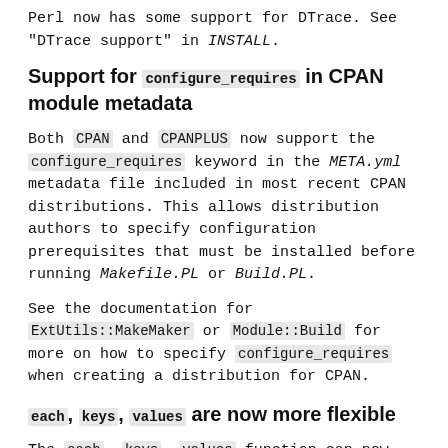Perl now has some support for DTrace. See "DTrace support" in INSTALL.
Support for configure_requires in CPAN module metadata
Both CPAN and CPANPLUS now support the configure_requires keyword in the META.yml metadata file included in most recent CPAN distributions. This allows distribution authors to specify configuration prerequisites that must be installed before running Makefile.PL or Build.PL.
See the documentation for ExtUtils::MakeMaker or Module::Build for more on how to specify configure_requires when creating a distribution for CPAN.
each, keys, values are now more flexible
The each, keys, values function can now operate